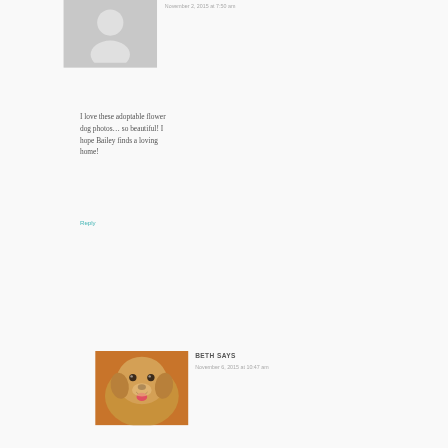[Figure (photo): Gray placeholder avatar silhouette image for anonymous commenter]
November 2, 2015 at 7:50 am
I love these adoptable flower dog photos… so beautiful! I hope Bailey finds a loving home!
Reply
[Figure (photo): Photo of Beth: a small tan/brown dog (puggle) looking at the camera with mouth open]
BETH SAYS
November 6, 2015 at 10:47 am